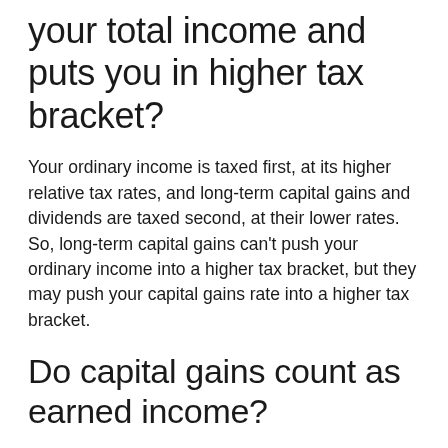your total income and puts you in higher tax bracket?
Your ordinary income is taxed first, at its higher relative tax rates, and long-term capital gains and dividends are taxed second, at their lower rates. So, long-term capital gains can't push your ordinary income into a higher tax bracket, but they may push your capital gains rate into a higher tax bracket.
Do capital gains count as earned income?
Capital gains are generally included in taxable income, but in most cases, are